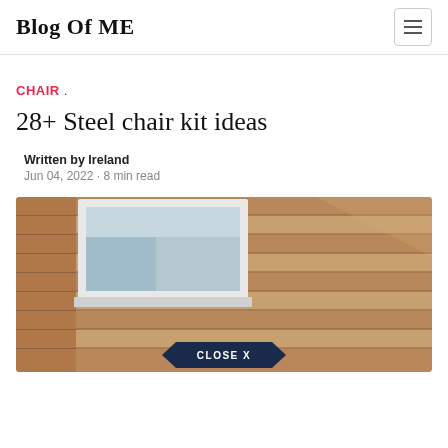Blog Of ME
CHAIR .
28+ Steel chair kit ideas
Written by Ireland
Jun 04, 2022 · 8 min read
[Figure (photo): Photo of wooden siding on a building with a white-framed window visible, and a dark blue 'CLOSE X' badge overlay at the bottom center.]